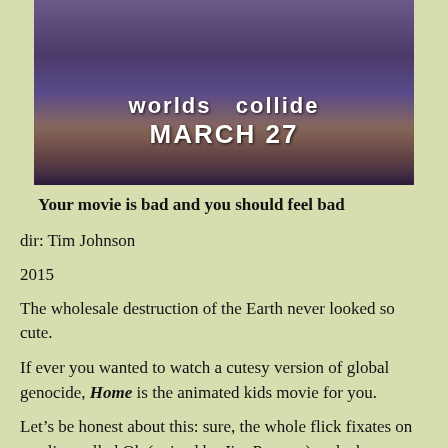[Figure (photo): Movie promotional image showing a fantasy city skyline with text 'worlds collide MARCH 27' overlaid in white bold text on a purple-toned cityscape background]
Your movie is bad and you should feel bad
dir: Tim Johnson
2015
The wholesale destruction of the Earth never looked so cute.
If ever you wanted to watch a cutesy version of global genocide, Home is the animated kids movie for you.
Let’s be honest about this: sure, the whole flick fixates on an alien called Oh (voiced by Jim Parsons) and a human called Tip (voiced by pop star Rihanna), but in the background of this whole story, Earth has pretty much been destroyed through alien invasion. The remaining humans have all been forcibly relocated to a white